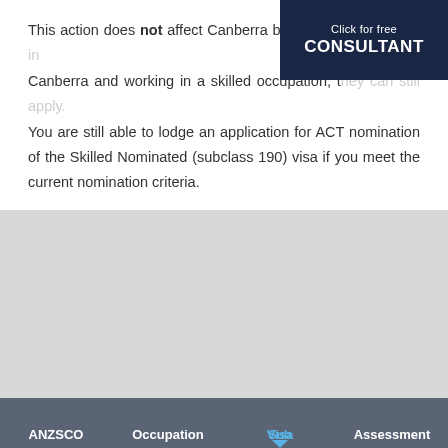This action does not affect Canberra based applicants living in Canberra and working in a skilled occupation, t... You are still able to lodge an application for ACT nomination of the Skilled Nominated (subclass 190) visa if you meet the current nomination criteria.
[Figure (screenshot): Consultant banner with dark navy background reading 'Click for free CONSULTANT']
ACT Occupation list
[Figure (screenshot): Chat widget showing sleeping moon icon and 'We're offline / Leave a message' text on blue background]
| ANZSCO | Occupation | Visa Sub | Assessment |
| --- | --- | --- | --- |